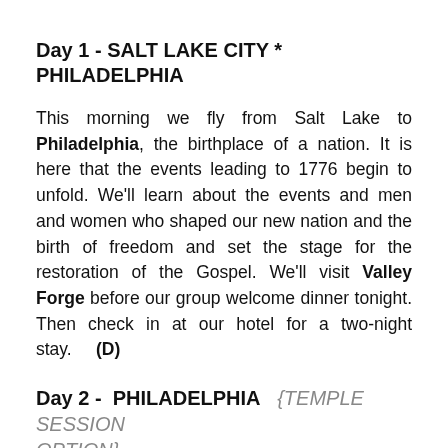Day 1 - SALT LAKE CITY * PHILADELPHIA
This morning we fly from Salt Lake to Philadelphia, the birthplace of a nation. It is here that the events leading to 1776 begin to unfold. We'll learn about the events and men and women who shaped our new nation and the birth of freedom and set the stage for the restoration of the Gospel. We'll visit Valley Forge before our group welcome dinner tonight. Then check in at our hotel for a two-night stay.     (D)
Day 2 -  PHILADELPHIA   {TEMPLE SESSION OPTION}